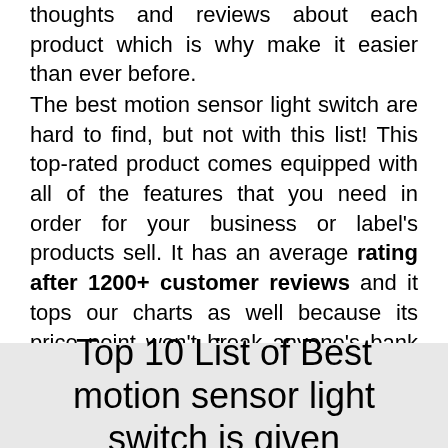thoughts and reviews about each product which is why make it easier than ever before.
The best motion sensor light switch are hard to find, but not with this list! This top-rated product comes equipped with all of the features that you need in order for your business or label's products sell. It has an average rating after 1200+ customer reviews and it tops our charts as well because its price point won't break anyone's bank account either – 4 stars out 5 on Amazon alone says so much about how good these things work .
Top 10 List of Best motion sensor light switch is given